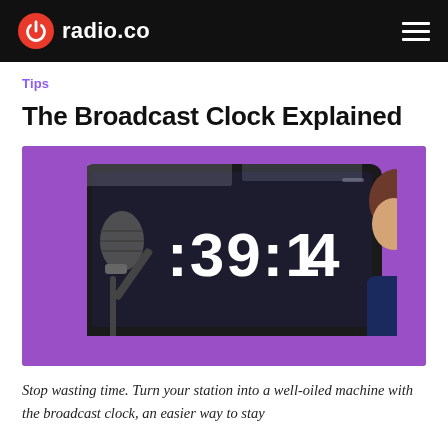radio.co
Tips
The Broadcast Clock Explained
[Figure (photo): A person sitting in front of an iMac computer screen showing a broadcast clock timer reading :39:14, with a microphone visible in the foreground, on a purple background.]
Stop wasting time. Turn your station into a well-oiled machine with the broadcast clock, an easier way to stay